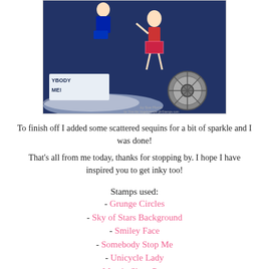[Figure (photo): Partial photo of a craft/stamping card showing decorated figures (girl on unicycle, boy) with dark blue background and 'SOMEBODY STOP ME!' text, plus a wheel accent piece]
To finish off I added some scattered sequins for a bit of sparkle and I was done!
That's all from me today, thanks for stopping by. I hope I have inspired you to get inky too!
Stamps used:
- Grunge Circles
- Sky of Stars Background
- Smiley Face
- Somebody Stop Me
- Unicycle Lady
- Man in Short Pants
- Director